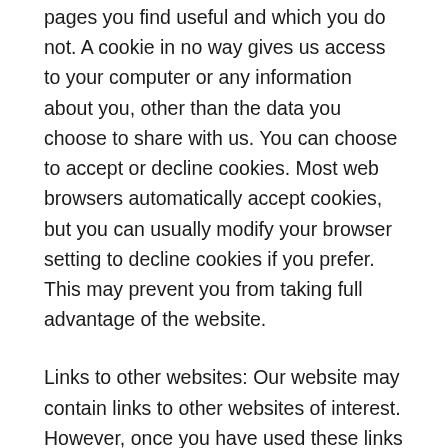pages you find useful and which you do not. A cookie in no way gives us access to your computer or any information about you, other than the data you choose to share with us. You can choose to accept or decline cookies. Most web browsers automatically accept cookies, but you can usually modify your browser setting to decline cookies if you prefer. This may prevent you from taking full advantage of the website.
Links to other websites: Our website may contain links to other websites of interest. However, once you have used these links to leave our site, you should note that we do not have any control over that other website. Therefore, we cannot be responsible for the